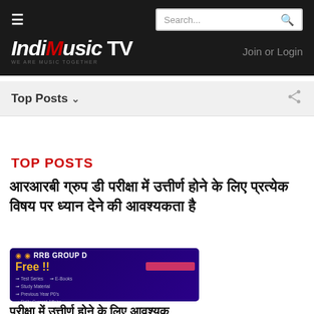IndiMusic TV — Search bar and navigation header
Top Posts ▾
TOP POSTS
आरआरबी ग्रुप डी परीक्षा में उत्तीर्ण होने के लिए प्रत्येक विषय पर ध्यान देने की आवश्यकता है
[Figure (screenshot): RRB GROUP D promotional banner with 'Free!!' text and list of features on a dark blue background]
Hindi article continuation text (partial, cut off at bottom)